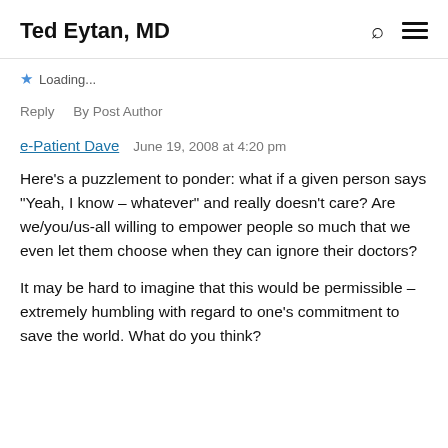Ted Eytan, MD
★ Loading...
Reply    By Post Author
e-Patient Dave    June 19, 2008 at 4:20 pm
Here's a puzzlement to ponder: what if a given person says "Yeah, I know – whatever" and really doesn't care? Are we/you/us-all willing to empower people so much that we even let them choose when they can ignore their doctors?
It may be hard to imagine that this would be permissible – extremely humbling with regard to one's commitment to save the world. What do you think?